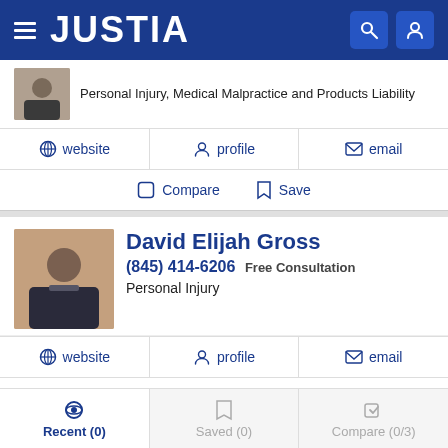JUSTIA
Personal Injury, Medical Malpractice and Products Liability
website  profile  email
Compare  Save
David Elijah Gross
(845) 414-6206 Free Consultation
Personal Injury
website  profile  email
Compare  Save
Alfred Mainotti
Recent (0)  Saved (0)  Compare (0/3)